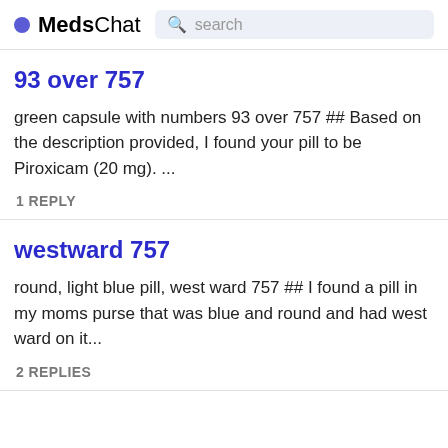MedsChat  search
93 over 757
green capsule with numbers 93 over 757 ## Based on the description provided, I found your pill to be Piroxicam (20 mg). ...
1 REPLY
westward 757
round, light blue pill, west ward 757 ## I found a pill in my moms purse that was blue and round and had west ward on it...
2 REPLIES